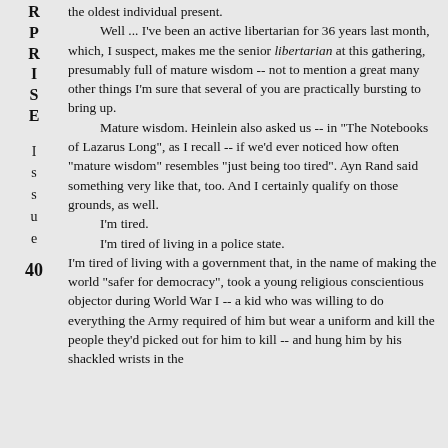RPRISE
Issue
40
the oldest individual present.

    Well ... I've been an active libertarian for 36 years last month, which, I suspect, makes me the senior libertarian at this gathering, presumably full of mature wisdom -- not to mention a great many other things I'm sure that several of you are practically bursting to bring up.

    Mature wisdom. Heinlein also asked us -- in "The Notebooks of Lazarus Long", as I recall -- if we'd ever noticed how often "mature wisdom" resembles "just being too tired". Ayn Rand said something very like that, too. And I certainly qualify on those grounds, as well.

    I'm tired.
    I'm tired of living in a police state.
    I'm tired of living with a government that, in the name of making the world "safer for democracy", took a young religious conscientious objector during World War I -- a kid who was willing to do everything the Army required of him but wear a uniform and kill the people they'd picked out for him to kill -- and hung him by his shackled wrists in the